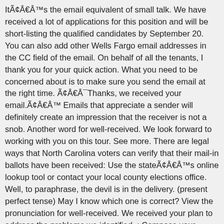ItÃ¢Â€Â™s the email equivalent of small talk. We have received a lot of applications for this position and will be short-listing the qualified candidates by September 20. You can also add other Wells Fargo email addresses in the CC field of the email. On behalf of all the tenants, I thank you for your quick action. What you need to be concerned about is to make sure you send the email at the right time. Ã¢Â€Â¯Thanks, we received your email.Ã¢Â€Â™ Emails that appreciate a sender will definitely create an impression that the receiver is not a snob. Another word for well-received. We look forward to working with you on this tour. See more. There are legal ways that North Carolina voters can verify that their mail-in ballots have been received: Use the stateÃ¢Â€Â™s online lookup tool or contact your local county elections office. Well, to paraphrase, the devil is in the delivery. (present perfect tense) May I know which one is correct? View the pronunciation for well-received. We received your plan to address the problems we identified. ; Compose your response and add an attachment if desired. Confusables. But if you